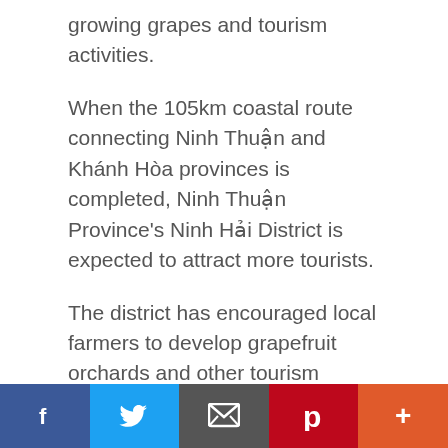growing grapes and tourism activities.
When the 105km coastal route connecting Ninh Thuận and Khánh Hòa provinces is completed, Ninh Thuận Province's Ninh Hải District is expected to attract more tourists.
The district has encouraged local farmers to develop grapefruit orchards and other tourism products. There are 190ha of grape cultivation combined with eco-tourism in the district.
Taking advantage of fruit, pepper and cashew orchards, the southern province of Đồng Nai has